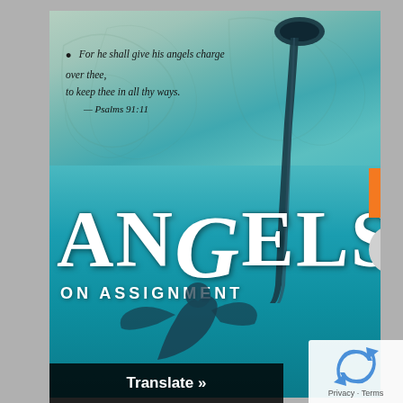[Figure (illustration): Book cover of 'Angels on Assignment' featuring a large trumpet descending from the top right, a teal/cyan background with aged parchment texture at top, large decorative text 'ANGELS ON ASSIGNMENT', a scripture quote from Psalms 91:11, and an angel figure at the bottom.]
For he shall give his angels charge over thee, to keep thee in all thy ways. —Psalms 91:11
ANGELS ON ASSIGNMENT
Translate »
Privacy · Terms